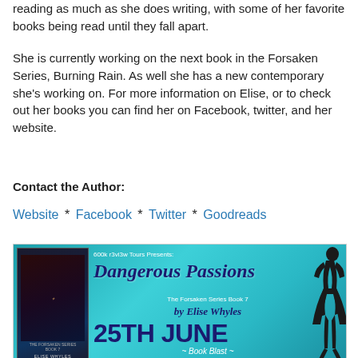reading as much as she does writing, with some of her favorite books being read until they fall apart.
She is currently working on the next book in the Forsaken Series, Burning Rain. As well she has a new contemporary she's working on. For more information on Elise, or to check out her books you can find her on Facebook, twitter, and her website.
Contact the Author:
Website * Facebook * Twitter * Goodreads
[Figure (illustration): Book Blast banner for 'Dangerous Passions, The Forsaken Series Book 7 by Elise Whyles' showing 25th June date, with book cover on left and silhouette figure on right, teal background. Text reads: 600k r3vi3w Tours Presents: Dangerous Passions, The Forsaken Series Book 7, by Elise Whyles, 25TH JUNE, ~ Book Blast ~]